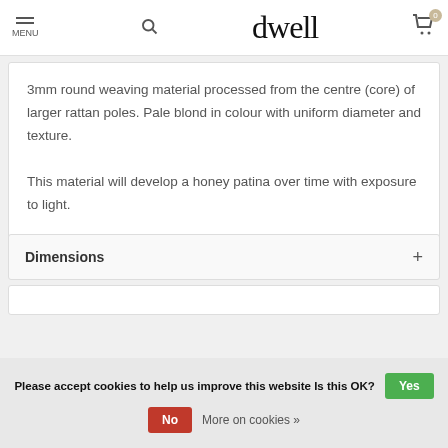MENU | dwell | 0
3mm round weaving material processed from the centre (core) of larger rattan poles. Pale blond in colour with uniform diameter and texture.

This material will develop a honey patina over time with exposure to light.

Suitable for indoor use only.
Dimensions +
Please accept cookies to help us improve this website Is this OK? Yes
No More on cookies »